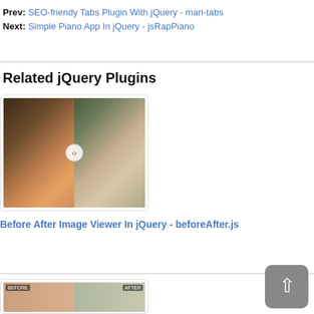Prev: SEO-friendy Tabs Plugin With jQuery - mari-tabs
Next: Simple Piano App In jQuery - jsRapPiano
Related jQuery Plugins
[Figure (screenshot): Before/After image comparison slider showing a young woman on the left side and a woman in a floral dress on the right side, with a circular drag handle in the middle]
Before After Image Viewer In jQuery - beforeAfter.js
[Figure (screenshot): Partially visible before/after image comparison plugin thumbnail with labels on left and right sides]